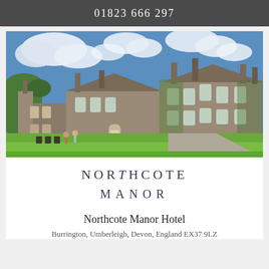01823 666297
[Figure (photo): Exterior photograph of Northcote Manor Hotel, a large stone English country manor house with ivy-covered walls, multiple chimneys, set in green lawns under a blue sky with white clouds. Several chairs and people visible on the lawn.]
NORTHCOTE MANOR
Northcote Manor Hotel
Burrington, Umberleigh, Devon, England EX37 9LZ